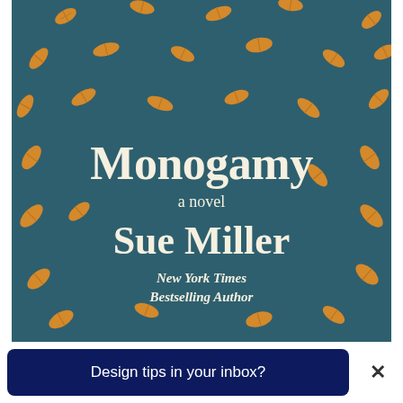[Figure (illustration): Book cover of 'Monogamy' by Sue Miller. Teal/dark teal background with scattered orange/golden leaf illustrations throughout. Center text reads 'Monogamy' in large serif font, 'a novel' in smaller text, 'Sue Miller' in large serif font, and 'New York Times Bestselling Author' in italic serif below.]
Design tips in your inbox?